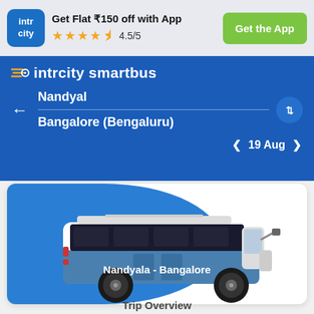Get Flat ₹150 off with App | ★★★★½ 4.5/5 | Get the App
intrcity smartbus
Nandyal
Bangalore (Bengaluru)
< 19 Aug >
[Figure (illustration): Illustration of a blue and white intercity bus with text 'Nandyala - Bangalore' on the side, displayed on a blue background card]
Trip Overview